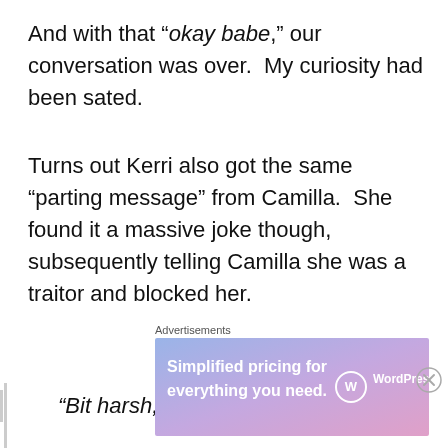And with that “okay babe,” our conversation was over.  My curiosity had been sated.
Turns out Kerri also got the same “parting message” from Camilla.  She found it a massive joke though, subsequently telling Camilla she was a traitor and blocked her.
“Bit harsh, 😐 ” I said.
“No, I’m pissed off!” said Kerri.  “We’ve had
Advertisements
[Figure (other): WordPress.com advertisement banner with text 'Simplified pricing for everything you need.' and WordPress.com logo on a gradient purple-blue background. Close button in corner.]